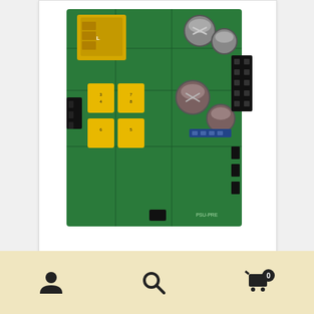[Figure (photo): Top-down photograph of a green PCB power supply kit (PSU-PRE) showing yellow capacitors, electrolytic capacitors, a transformer, and various electronic components.]
PSU-PRE – Power Supply Kit for Tube Preamp
CAD $46.00 – CAD $170.00
Select options
user icon | search icon | cart icon with 0